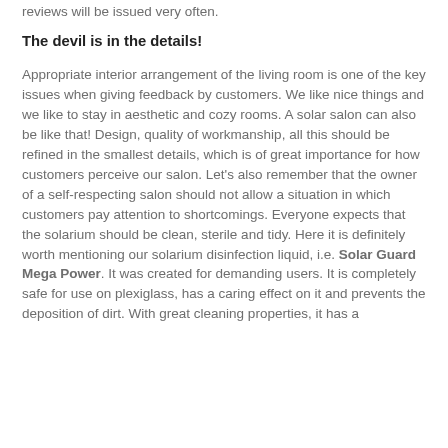reviews will be issued very often.
The devil is in the details!
Appropriate interior arrangement of the living room is one of the key issues when giving feedback by customers. We like nice things and we like to stay in aesthetic and cozy rooms. A solar salon can also be like that! Design, quality of workmanship, all this should be refined in the smallest details, which is of great importance for how customers perceive our salon. Let's also remember that the owner of a self-respecting salon should not allow a situation in which customers pay attention to shortcomings. Everyone expects that the solarium should be clean, sterile and tidy. Here it is definitely worth mentioning our solarium disinfection liquid, i.e. Solar Guard Mega Power. It was created for demanding users. It is completely safe for use on plexiglass, has a caring effect on it and prevents the deposition of dirt. With great cleaning properties, it has a